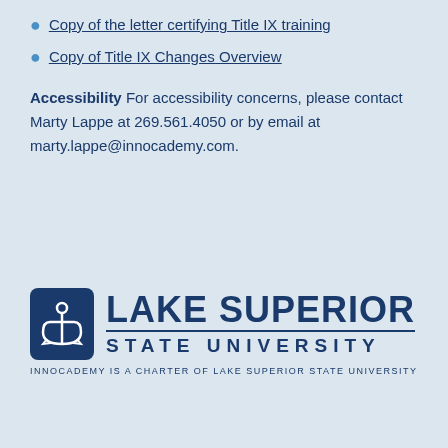Copy of the letter certifying Title IX training
Copy of Title IX Changes Overview
Accessibility For accessibility concerns, please contact Marty Lappe at 269.561.4050 or by email at marty.lappe@innocademy.com.
[Figure (logo): Lake Superior State University logo with anchor icon and text 'LAKE SUPERIOR STATE UNIVERSITY'. Below: 'INNOCADEMY IS A CHARTER OF LAKE SUPERIOR STATE UNIVERSITY']